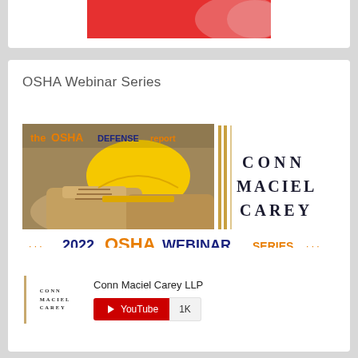[Figure (screenshot): Partial clipped card at top showing red image thumbnail (cropped)]
OSHA Webinar Series
[Figure (screenshot): OSHA Webinar Series banner for Conn Maciel Carey showing the OSHA Defense Report branding with construction boots, hard hat, and '2022 OSHA WEBINAR SERIES' text]
[Figure (screenshot): Conn Maciel Carey LLP YouTube channel card showing logo and YouTube subscribe button with 1K subscribers]